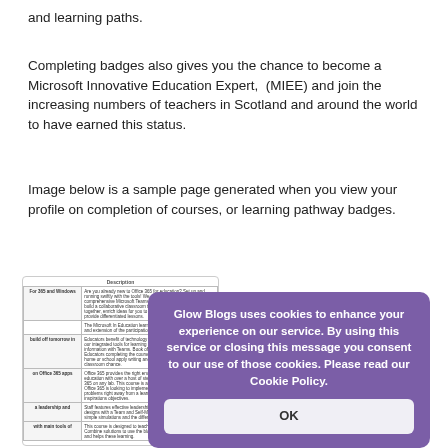and learning paths.
Completing badges also gives you the chance to become a Microsoft Innovative Education Expert,  (MIEE) and join the increasing numbers of teachers in Scotland and around the world to have earned this status.
Image below is a sample page generated when you view your profile on completion of courses, or learning pathway badges.
[Figure (screenshot): A sample profile page showing a table of Microsoft Education courses with course names and descriptions, partially obscured by a cookie consent dialog overlay.]
Glow Blogs uses cookies to enhance your experience on our service. By using this service or closing this message you consent to our use of those cookies. Please read our Cookie Policy.
OK